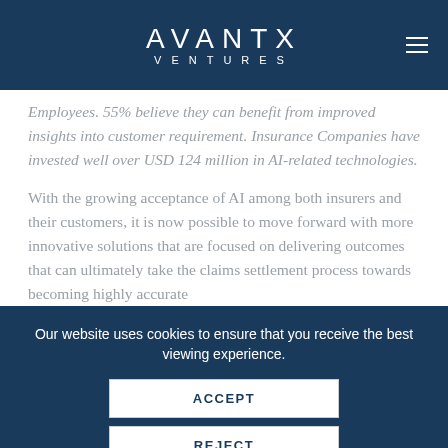AVANTX VENTURES
Employees. 55% believe they can benefit from improved insights into customer requirement. Insurance Companies have invested well over USD 124 million in AI-related technologies.
With the growing acceptance of AI among both insurers and their customers, it is now possible to move forward with more innovative solutions that are focused on delivering outcomes that can ultimately take the claims settlement process towards becoming highly accurate
Our website uses cookies to ensure that you receive the best viewing experience.
ACCEPT
REJECT
READ MORE